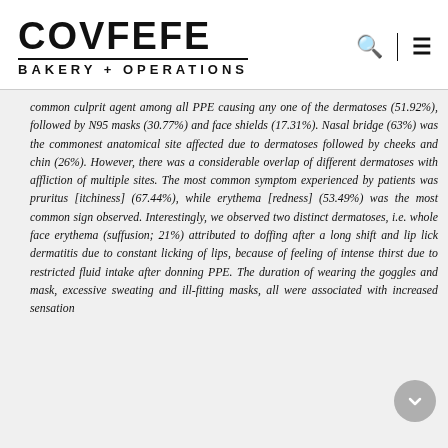COVFEFE BAKERY + OPERATIONS
common culprit agent among all PPE causing any one of the dermatoses (51.92%), followed by N95 masks (30.77%) and face shields (17.31%). Nasal bridge (63%) was the commonest anatomical site affected due to dermatoses followed by cheeks and chin (26%). However, there was a considerable overlap of different dermatoses with affliction of multiple sites. The most common symptom experienced by patients was pruritus [itchiness] (67.44%), while erythema [redness] (53.49%) was the most common sign observed. Interestingly, we observed two distinct dermatoses, i.e. whole face erythema (suffusion; 21%) attributed to doffing after a long shift and lip lick dermatitis due to constant licking of lips, because of feeling of intense thirst due to restricted fluid intake after donning PPE. The duration of wearing the goggles and mask, excessive sweating and ill-fitting masks, all were associated with increased sensation...